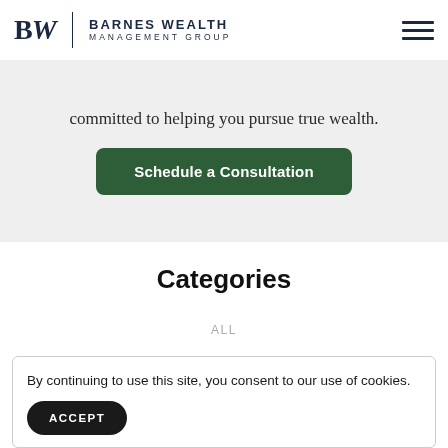Barnes Wealth Management Group
committed to helping you pursue true wealth.
Schedule a Consultation
Categories
ALL
By continuing to use this site, you consent to our use of cookies.
ACCEPT